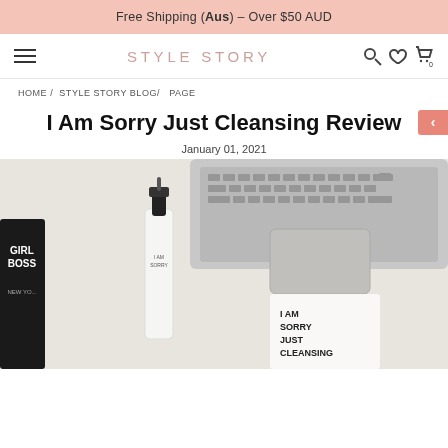Free Shipping (Aus) – Over $50 AUD
STYLE STORY
HOME / STYLE STORY BLOG / PAGE
I Am Sorry Just Cleansing Review
January 01, 2021
[Figure (photo): Flatlay photo showing skincare products including 'I Am Sorry Just Cleansing' bottle and pump bottle, a 'Girlboss' book, and a laptop keyboard on a white surface.]